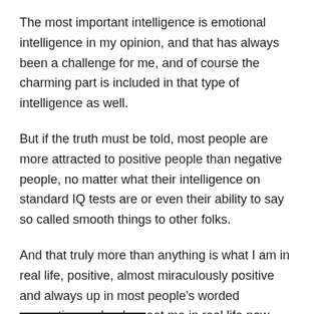The most important intelligence is emotional intelligence in my opinion, and that has always been a challenge for me, and of course the charming part is included in that type of intelligence as well.
But if the truth must be told, most people are more attracted to positive people than negative people, no matter what their intelligence on standard IQ tests are or even their ability to say so called smooth things to other folks.
And that truly more than anything is what I am in real life, positive, almost miraculously positive and always up in most people's worded perceptions, who do meet me in real life now.